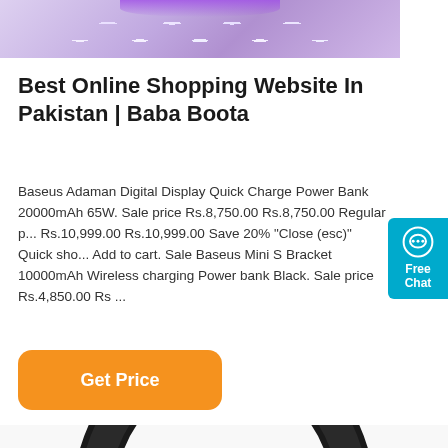[Figure (photo): Top portion of a keyboard with purple/pink RGB lighting on a white background]
Best Online Shopping Website In Pakistan | Baba Boota
Baseus Adaman Digital Display Quick Charge Power Bank 20000mAh 65W. Sale price Rs.8,750.00 Rs.8,750.00 Regular price Rs.10,999.00 Rs.10,999.00 Save 20% "Close (esc)" Quick shop Add to cart. Sale Baseus Mini S Bracket 10000mAh Wireless charging Power bank Black. Sale price Rs.4,850.00 Rs ...
[Figure (other): Free Chat widget — cyan/blue button with chat bubble icon]
Get Price
[Figure (photo): Black over-ear headphones partially visible at the bottom of the page]